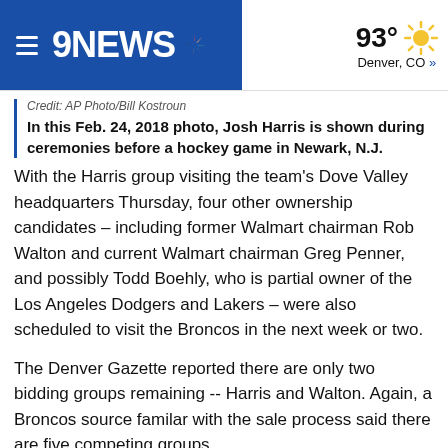9NEWS | 93° Denver, CO »
Credit: AP Photo/Bill Kostroun
In this Feb. 24, 2018 photo, Josh Harris is shown during ceremonies before a hockey game in Newark, N.J.
With the Harris group visiting the team's Dove Valley headquarters Thursday, four other ownership candidates – including former Walmart chairman Rob Walton and current Walmart chairman Greg Penner, and possibly Todd Boehly, who is partial owner of the Los Angeles Dodgers and Lakers – were also scheduled to visit the Broncos in the next week or two.
The Denver Gazette reported there are only two bidding groups remaining -- Harris and Walton. Again, a Broncos source familar with the sale process said there are five competing groups.
Joe Ellis, the Broncos' chief executive officer and president, and one of three trustees to the estate of late owner Pat